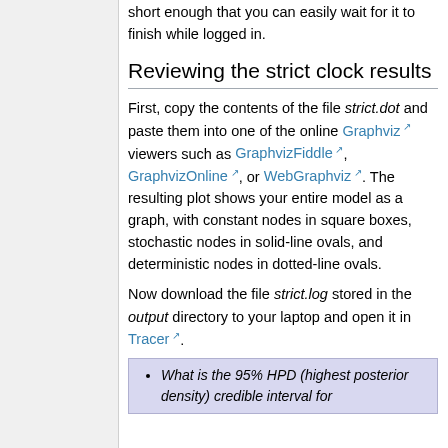short enough that you can easily wait for it to finish while logged in.
Reviewing the strict clock results
First, copy the contents of the file strict.dot and paste them into one of the online Graphviz viewers such as GraphvizFiddle, GraphvizOnline, or WebGraphviz. The resulting plot shows your entire model as a graph, with constant nodes in square boxes, stochastic nodes in solid-line ovals, and deterministic nodes in dotted-line ovals.
Now download the file strict.log stored in the output directory to your laptop and open it in Tracer.
What is the 95% HPD (highest posterior density) credible interval for